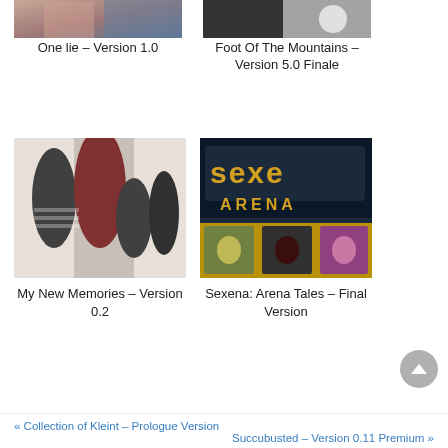[Figure (photo): Cropped top portion of a game cover image - One lie]
One lie – Version 1.0
[Figure (photo): Cropped top portion of a game cover image - Foot Of The Mountains]
Foot Of The Mountains – Version 5.0 Finale
[Figure (photo): Game thumbnail showing animated female characters - My New Memories]
My New Memories – Version 0.2
[Figure (photo): Game thumbnail showing Sexena Arena Tales logo and character portraits]
Sexena: Arena Tales – Final Version
« Collection of Kleint – Prologue Version
Succubusted – Version 0.11 Premium »